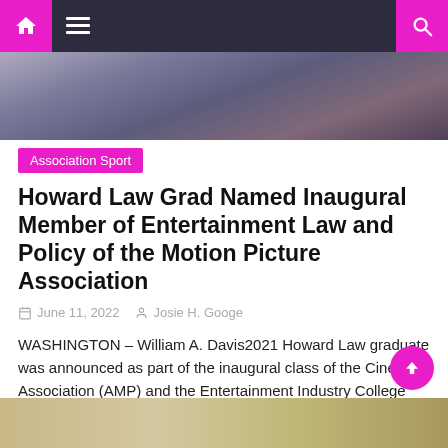Navigation bar with home, menu, and search icons
[Figure (photo): Close-up photo of a man in a dark suit with a purple tie]
Association Sport
Howard Law Grad Named Inaugural Member of Entertainment Law and Policy of the Motion Picture Association
June 11, 2022   Josie H. Googe
WASHINGTON – William A. Davis2021 Howard Law graduate was announced as part of the inaugural class of the Cinema Association (AMP) and the Entertainment Industry College Outreach Program (EICOP) Fellowship Program in Entertainment Law and Policy. This unique and prestigious one-year scholarship is aimed at recent college, university and law school graduates. historically black colleges [...]
[Figure (photo): Partial photo visible at the bottom of the page]